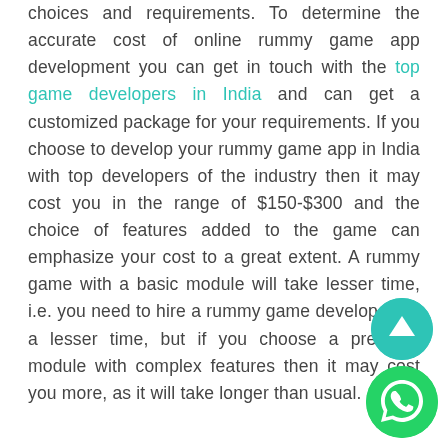choices and requirements. To determine the accurate cost of online rummy game app development you can get in touch with the top game developers in India and can get a customized package for your requirements. If you choose to develop your rummy game app in India with top developers of the industry then it may cost you in the range of $150-$300 and the choice of features added to the game can emphasize your cost to a great extent. A rummy game with a basic module will take lesser time, i.e. you need to hire a rummy game developer for a lesser time, but if you choose a premium module with complex features then it may cost you more, as it will take longer than usual.